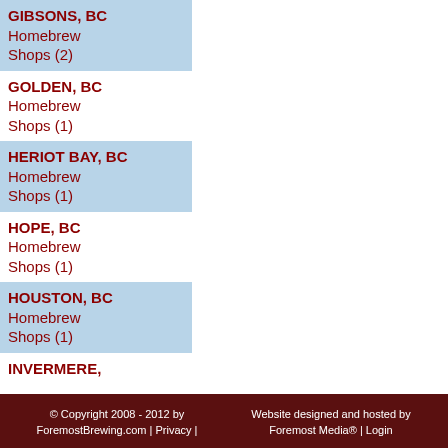GIBSONS, BC Homebrew Shops (2)
GOLDEN, BC Homebrew Shops (1)
HERIOT BAY, BC Homebrew Shops (1)
HOPE, BC Homebrew Shops (1)
HOUSTON, BC Homebrew Shops (1)
INVERMERE,
© Copyright 2008 - 2012 by ForemostBrewing.com | Privacy | Website designed and hosted by Foremost Media® | Login